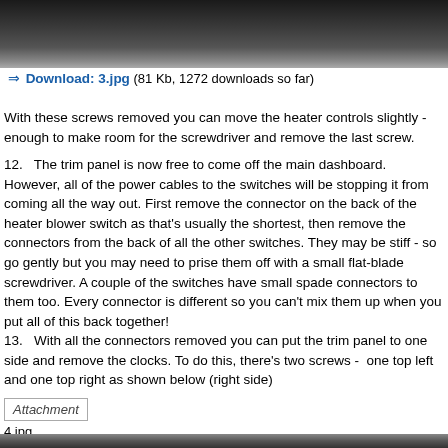[Figure (photo): Top portion of a car dashboard or engine bay, dark metallic components visible]
➡ Download: 3.jpg (81 Kb, 1272 downloads so far)
With these screws removed you can move the heater controls slightly - enough to make room for the screwdriver and remove the last screw.
12.   The trim panel is now free to come off the main dashboard. However, all of the power cables to the switches will be stopping it from coming all the way out. First remove the connector on the back of the heater blower switch as that's usually the shortest, then remove the connectors from the back of all the other switches. They may be stiff - so go gently but you may need to prise them off with a small flat-blade screwdriver. A couple of the switches have small spade connectors to them too. Every connector is different so you can't mix them up when you put all of this back together!
13.   With all the connectors removed you can put the trim panel to one side and remove the clocks. To do this, there's two screws -  one top left and one top right as shown below (right side)
Attachment
4.jpg
[Figure (photo): Bottom strip of car interior photo]